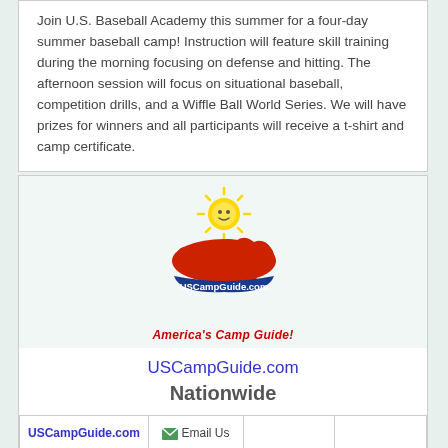Join U.S. Baseball Academy this summer for a four-day summer baseball camp! Instruction will feature skill training during the morning focusing on defense and hitting. The afternoon session will focus on situational baseball, competition drills, and a Wiffle Ball World Series. We will have prizes for winners and all participants will receive a t-shirt and camp certificate.
[Figure (logo): USCampGuide.com logo with a smiling sun above a red map of the USA, with a blue swoosh underneath. Text reads 'USCampGuide.com' and below 'America's Camp Guide!']
USCampGuide.com
Nationwide
| USCampGuide.com | Email Us |  |  |
|  |  |  |  |